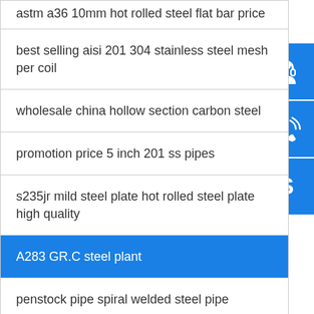astm a36 10mm hot rolled steel flat bar price
best selling aisi 201 304 stainless steel mesh per coil
wholesale china hollow section carbon steel
promotion price 5 inch 201 ss pipes
s235jr mild steel plate hot rolled steel plate high quality
A283 GR.C steel plant
penstock pipe spiral welded steel pipe
304 mirror stainless steel decorative plate
buy killed carbon steel pipe